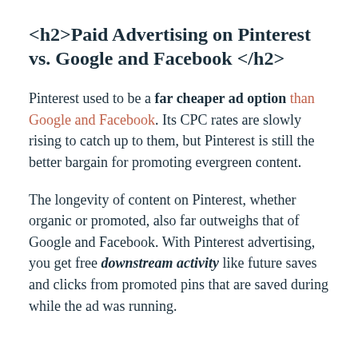<h2>Paid Advertising on Pinterest vs. Google and Facebook </h2>
Pinterest used to be a far cheaper ad option than Google and Facebook. Its CPC rates are slowly rising to catch up to them, but Pinterest is still the better bargain for promoting evergreen content.
The longevity of content on Pinterest, whether organic or promoted, also far outweighs that of Google and Facebook. With Pinterest advertising, you get free downstream activity like future saves and clicks from promoted pins that are saved during while the ad was running.